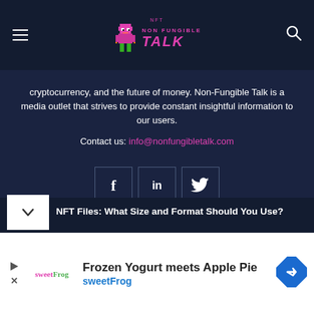Non Fungible Talk
cryptocurrency, and the future of money. Non-Fungible Talk is a media outlet that strives to provide constant insightful information to our users.
Contact us: info@nonfungibletalk.com
[Figure (infographic): Social media icons: Facebook (f), LinkedIn (in), Twitter bird icon, each in a bordered square box]
NFT Files: What Size and Format Should You Use?
[Figure (infographic): Advertisement banner: Frozen Yogurt meets Apple Pie - sweetFrog, with sweetFrog logo and navigation arrow icon]